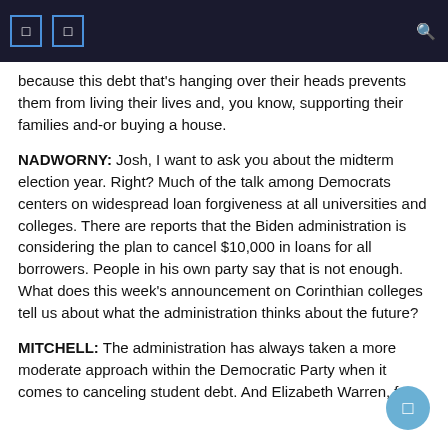[ ] [ ] [search icon]
because this debt that's hanging over their heads prevents them from living their lives and, you know, supporting their families and-or buying a house.
NADWORNY: Josh, I want to ask you about the midterm election year. Right? Much of the talk among Democrats centers on widespread loan forgiveness at all universities and colleges. There are reports that the Biden administration is considering the plan to cancel $10,000 in loans for all borrowers. People in his own party say that is not enough. What does this week's announcement on Corinthian colleges tell us about what the administration thinks about the future?
MITCHELL: The administration has always taken a more moderate approach within the Democratic Party when it comes to canceling student debt. And Elizabeth Warren, for